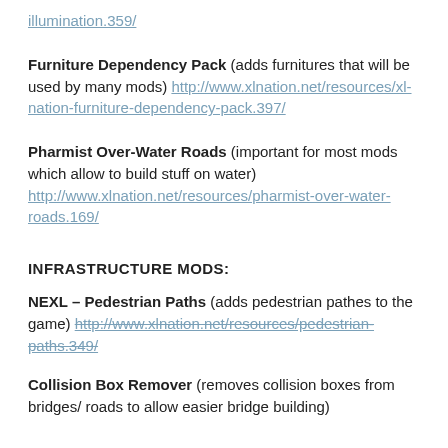illumination.359/
Furniture Dependency Pack (adds furnitures that will be used by many mods) http://www.xlnation.net/resources/xl-nation-furniture-dependency-pack.397/
Pharmist Over-Water Roads (important for most mods which allow to build stuff on water) http://www.xlnation.net/resources/pharmist-over-water-roads.169/
INFRASTRUCTURE MODS:
NEXL – Pedestrian Paths (adds pedestrian pathes to the game) http://www.xlnation.net/resources/pedestrian-paths.349/
Collision Box Remover (removes collision boxes from bridges/ roads to allow easier bridge building)